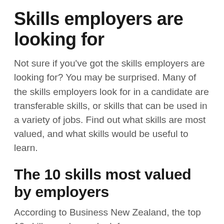Skills employers are looking for
Not sure if you've got the skills employers are looking for? You may be surprised. Many of the skills employers look for in a candidate are transferable skills, or skills that can be used in a variety of jobs. Find out what skills are most valued, and what skills would be useful to learn.
The 10 skills most valued by employers
According to Business New Zealand, the top 10 skills employers look for are: